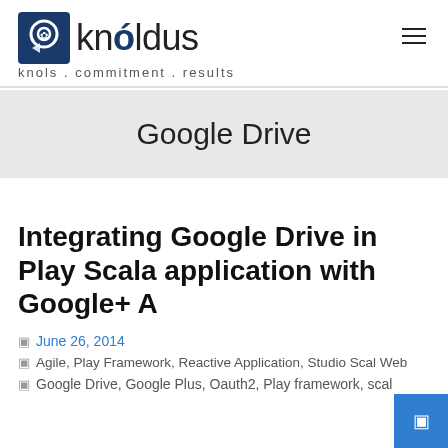knóldus — knols . commitment . results
Google Drive
Integrating Google Drive in Play Scala application with Google+ A
June 26, 2014
Agile, Play Framework, Reactive Application, Studio Scal Web
Google Drive, Google Plus, Oauth2, Play framework, scal